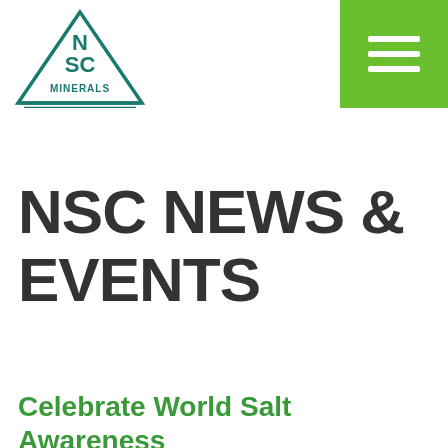[Figure (logo): NSC Minerals logo: triangle outline with 'N S C' stacked inside and 'MINERALS' text at the bottom, in dark teal/green color]
[Figure (other): Green square hamburger/menu button with three white horizontal bars]
NSC NEWS & EVENTS
Celebrate World Salt Awareness Week